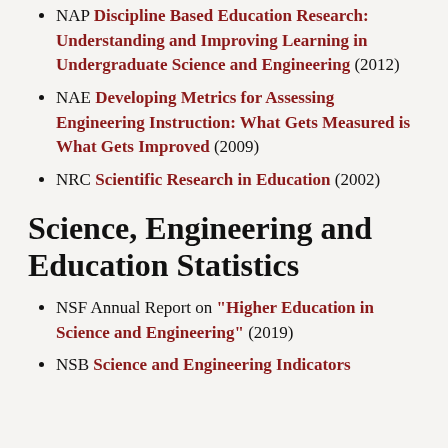NAP Discipline Based Education Research: Understanding and Improving Learning in Undergraduate Science and Engineering (2012)
NAE Developing Metrics for Assessing Engineering Instruction: What Gets Measured is What Gets Improved (2009)
NRC Scientific Research in Education (2002)
Science, Engineering and Education Statistics
NSF Annual Report on "Higher Education in Science and Engineering" (2019)
NSB Science and Engineering Indicators